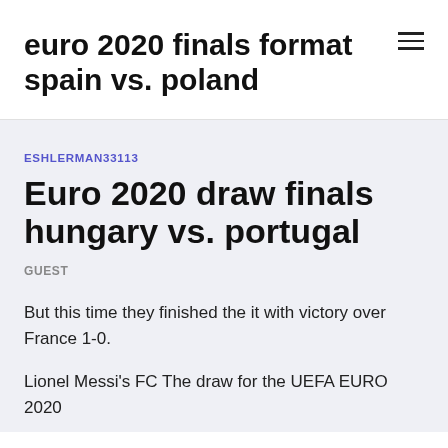euro 2020 finals format spain vs. poland
ESHLERMAN33113
Euro 2020 draw finals hungary vs. portugal
GUEST
But this time they finished the it with victory over France 1-0.
Lionel Messi's FC The draw for the UEFA EURO 2020